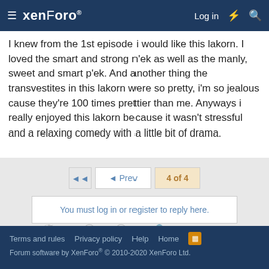xenForo — Log in
I knew from the 1st episode i would like this lakorn. I loved the smart and strong n'ek as well as the manly, sweet and smart p'ek. And another thing the transvestites in this lakorn were so pretty, i'm so jealous cause they're 100 times prettier than me. Anyways i really enjoyed this lakorn because it wasn't stressful and a relaxing comedy with a little bit of drama.
◄◄  ◄ Prev  4 of 4
You must log in or register to reply here.
Share:
< 2005
Terms and rules  Privacy policy  Help  Home  Forum software by XenForo® © 2010-2020 XenForo Ltd.